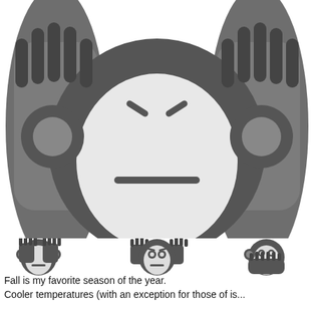[Figure (illustration): Large monkey emoji (speak-no-evil) cropped view showing two hands raised on the sides, a round monkey face with furrowed brows and a straight mouth line, on white background]
[Figure (illustration): Three monkey emojis in a row: see-no-evil (covering eyes), hear-no-evil (covering ears), speak-no-evil (covering mouth), shown as dark gray icons on white background]
Fall is my favorite season of the year.
Cooler temperatures (with an exception for those of is...